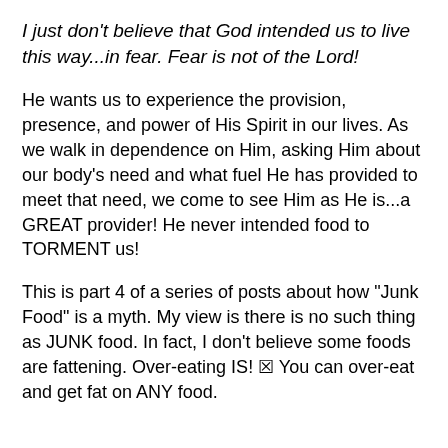I just don't believe that God intended us to live this way...in fear. Fear is not of the Lord!
He wants us to experience the provision, presence, and power of His Spirit in our lives. As we walk in dependence on Him, asking Him about our body's need and what fuel He has provided to meet that need, we come to see Him as He is...a GREAT provider! He never intended food to TORMENT us!
This is part 4 of a series of posts about how “Junk Food” is a myth. My view is there is no such thing as JUNK food. In fact, I don’t believe some foods are fattening. Over-eating IS! ☒ You can over-eat and get fat on ANY food.